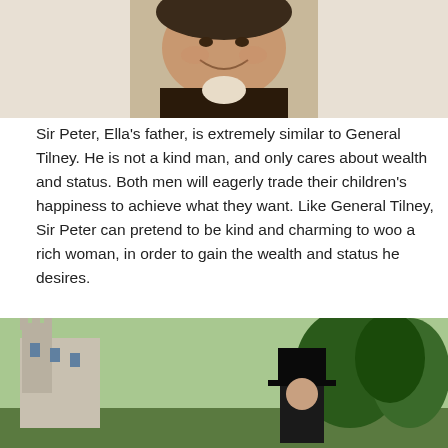[Figure (photo): Portrait photo of a heavyset older man in period costume, smiling, wearing a cravat and dark jacket — portraying a character resembling General Tilney / Sir Peter.]
Sir Peter, Ella's father, is extremely similar to General Tilney. He is not a kind man, and only cares about wealth and status. Both men will eagerly trade their children's happiness to achieve what they want. Like General Tilney, Sir Peter can pretend to be kind and charming to woo a rich woman, in order to gain the wealth and status he desires.
[Figure (photo): Outdoor scene showing a castle on the left and a man in a top hat on the right, with trees in the background — period setting illustration.]